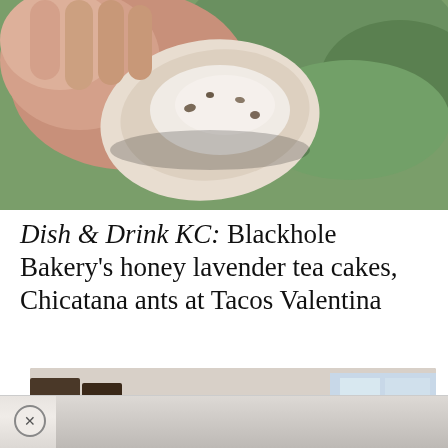[Figure (photo): Close-up photo of a hand holding a honey lavender tea cake with icing, with green foliage in the background]
Dish & Drink KC: Blackhole Bakery's honey lavender tea cakes, Chicatana ants at Tacos Valentina
[Figure (photo): Indoor scene at what appears to be a government or community office, showing people at a registration or service desk, with a U.S. Mail/Voter Box sign visible on the left]